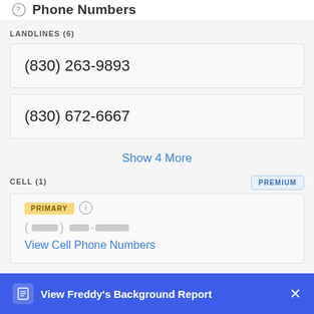Phone Numbers
LANDLINES (6)
(830) 263-9893
(830) 672-6667
Show 4 More
CELL (1)
PREMIUM
PRIMARY
View Cell Phone Numbers
View Freddy's Background Report